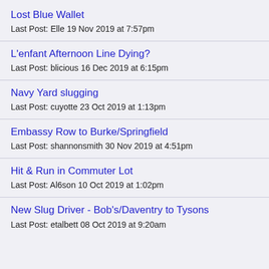Lost Blue Wallet
Last Post: Elle 19 Nov 2019 at 7:57pm
L'enfant Afternoon Line Dying?
Last Post: blicious 16 Dec 2019 at 6:15pm
Navy Yard slugging
Last Post: cuyotte 23 Oct 2019 at 1:13pm
Embassy Row to Burke/Springfield
Last Post: shannonsmith 30 Nov 2019 at 4:51pm
Hit & Run in Commuter Lot
Last Post: Al6son 10 Oct 2019 at 1:02pm
New Slug Driver - Bob's/Daventry to Tysons
Last Post: etalbett 08 Oct 2019 at 9:20am